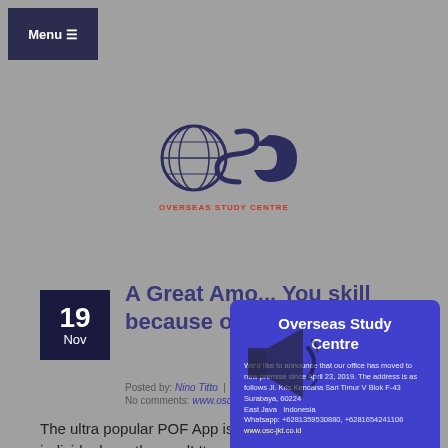Menu
[Figure (logo): Overseas Study Centre logo — globe icon with OSC letters and text 'OVERSEAS STUDY CENTRE']
[Figure (infographic): Blue popup notification box for Overseas Study Centre announcing office move. Text: 'Overseas Study Centre — We'd like to announce that our office has moved to new premise since April 23, 2019. The address is as follows Jl. Kris Kencana Sari Timur V Blok F-43 Surabaya, 60224, East Java, Indonesia. Whatsapp: +6281359530880, +6281654241106 — www.osc-jkt.co.id']
A Great Amo... You skill because of the POF App
Posted by: Nino Titto | Categories: get it on review
No comments: www.osc-jkt.co.id
The ultra popular POF App is a good option to satisfy individuals on the road! Its additionally doubly helpful if you fail to acquire some type of computer. The a great amount of Fish App can be